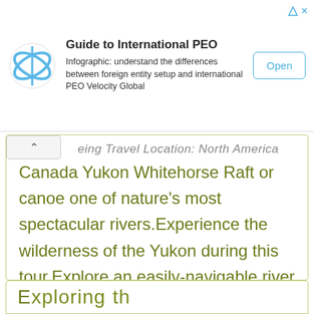[Figure (infographic): Advertisement banner: Guide to International PEO with circular logo, description text, and Open button]
...eing Travel Location: North America
Canada Yukon Whitehorse Raft or canoe one of nature's most spectacular rivers.Experience the wilderness of the Yukon during this tour.Explore an easily-navigable river that cuts through wilderness beauty.Children may participate. Vacation Contact Detail Travel picture of Enjoying a wilderness […]
E...